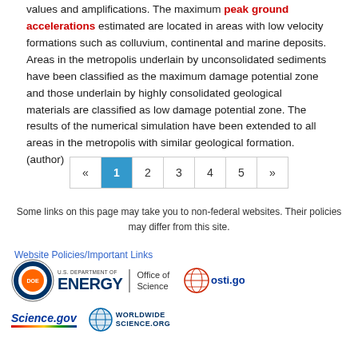values and amplifications. The maximum peak ground accelerations estimated are located in areas with low velocity formations such as colluvium, continental and marine deposits. Areas in the metropolis underlain by unconsolidated sediments have been classified as the maximum damage potential zone and those underlain by highly consolidated geological materials are classified as low damage potential zone. The results of the numerical simulation have been extended to all areas in the metropolis with similar geological formation. (author)
[Figure (other): Pagination bar with «, 1 (active/highlighted), 2, 3, 4, 5, »]
Some links on this page may take you to non-federal websites. Their policies may differ from this site.
Website Policies/Important Links
[Figure (logo): U.S. Department of Energy logo with Office of Science text, osti.gov logo, Science.gov logo, WorldWideScience.org logo]